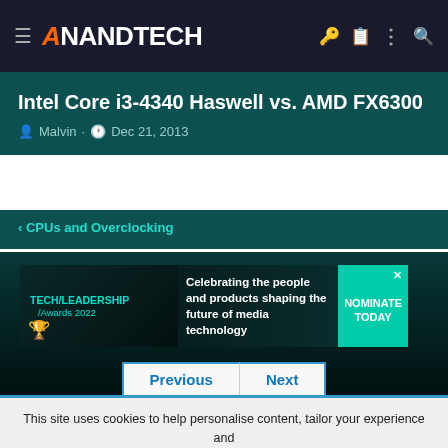AnandTech
Intel Core i3-4340 Haswell vs. AMD FX6300
Malvin · Dec 21, 2013
< CPUs and Overclocking
[Figure (other): Tech Leadership Awards 2022 advertisement banner: Celebrating the people and products shaping the future of media technology. NOMINATE TODAY.]
Previous  Next
This site uses cookies to help personalise content, tailor your experience and to keep you logged in if you register.
By continuing to use this site, you are consenting to our use of cookies.